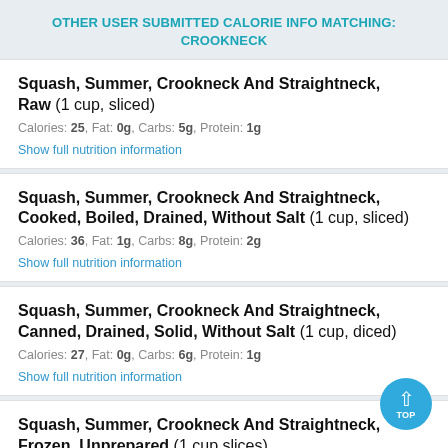OTHER USER SUBMITTED CALORIE INFO MATCHING: CROOKNECK
Squash, Summer, Crookneck And Straightneck, Raw (1 cup, sliced)
Calories: 25, Fat: 0g, Carbs: 5g, Protein: 1g
Show full nutrition information
Squash, Summer, Crookneck And Straightneck, Cooked, Boiled, Drained, Without Salt (1 cup, sliced)
Calories: 36, Fat: 1g, Carbs: 8g, Protein: 2g
Show full nutrition information
Squash, Summer, Crookneck And Straightneck, Canned, Drained, Solid, Without Salt (1 cup, diced)
Calories: 27, Fat: 0g, Carbs: 6g, Protein: 1g
Show full nutrition information
Squash, Summer, Crookneck And Straightneck, Frozen, Unprepared (1 cup slices)
Calories: 26, Fat: 0g, Carbs: 6g, Protein: 1g